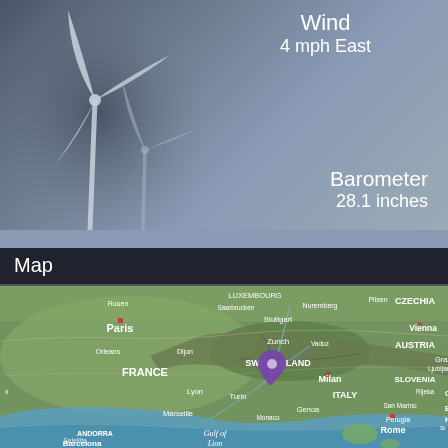[Figure (illustration): Weather app panel showing wind turbine illustration on dark blurred background with wind speed and barometer readings. Wind: 4 mph East. Barometer: 28.1 inches.]
Wind
4 mph East
Barometer
28.1 inches
[Figure (map): Satellite map centered on Switzerland/Northern Italy showing Western Europe. Location pin (purple) placed in Switzerland near the Italy border. Visible cities: Rouen, Paris, Orleans, Dijon, Lyon, Marseille, Barcelona, Andorra, Monaco, Genoa, Turin, Milan, Luxembourg, Saarbrucken, Nuremberg, Stuttgart, Zurich, Vaduz, Vienna, Graz, Ljubljana, Rijeka, Rome, Perugia, San Marino. Countries labeled: France, Switzerland, Austria, Italy, Slovenia, Czechia, Bosnia/Herzegovina. Bodies of water: Gulf of Lion. Satellite toggle visible bottom-left.]
Map